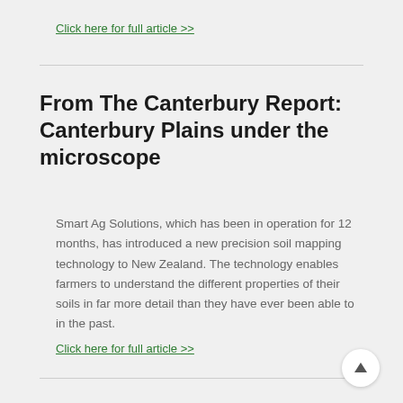Click here for full article >>
From The Canterbury Report: Canterbury Plains under the microscope
Smart Ag Solutions, which has been in operation for 12 months, has introduced a new precision soil mapping technology to New Zealand. The technology enables farmers to understand the different properties of their soils in far more detail than they have ever been able to in the past.
Click here for full article >>